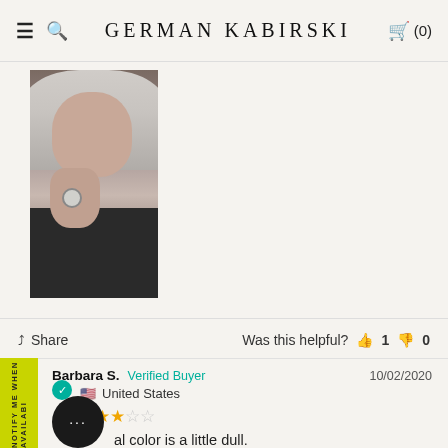GERMAN KABIRSKI
[Figure (photo): A woman with long gray hair posing with her hand near her face, wearing a ring — product review photo for German Kabirski jewelry.]
Share   Was this helpful?  👍 1  👎 0
Barbara S.  Verified Buyer   10/02/2020
United States
★★★☆☆
al color is a little dull.